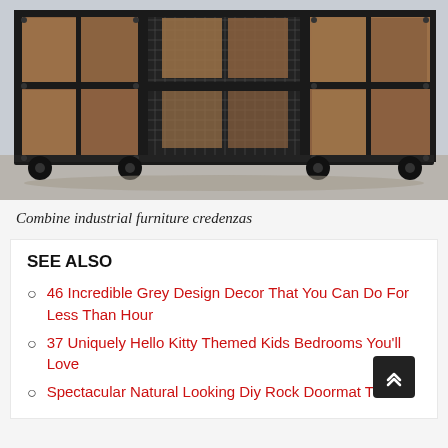[Figure (photo): Industrial furniture credenza with metal frame, wooden panel doors, and caster wheels on a concrete floor]
Combine industrial furniture credenzas
SEE ALSO
46 Incredible Grey Design Decor That You Can Do For Less Than Hour
37 Uniquely Hello Kitty Themed Kids Bedrooms You'll Love
Spectacular Natural Looking Diy Rock Doormat That...